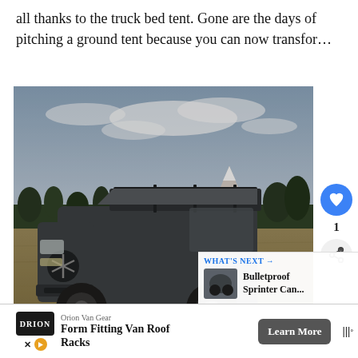all thanks to the truck bed tent. Gone are the days of pitching a ground tent because you can now transfor…
[Figure (photo): A dark grey Mercedes-Benz Sprinter van with roof rack, parked in a dry grassy field with evergreen trees and a snow-capped mountain in the background under a partly cloudy sky.]
1
WHAT'S NEXT → Bulletproof Sprinter Can...
Orion Van Gear
Form Fitting Van Roof Racks
Learn More